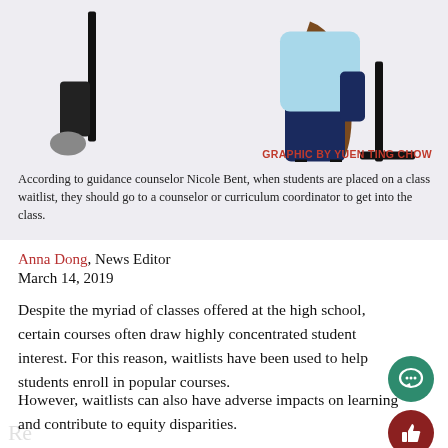[Figure (illustration): Illustration of students in chairs; partial view cropped at top of page. Shows legs and clothing details of seated figures on a light lavender/grey background.]
GRAPHIC BY YUEN TING CHOW
According to guidance counselor Nicole Bent, when students are placed on a class waitlist, they should go to a counselor or curriculum coordinator to get into the class.
Anna Dong, News Editor
March 14, 2019
Despite the myriad of classes offered at the high school, certain courses often draw highly concentrated student interest. For this reason, waitlists have been used to help students enroll in popular courses.
However, waitlists can also have adverse impacts on learning and contribute to equity disparities.